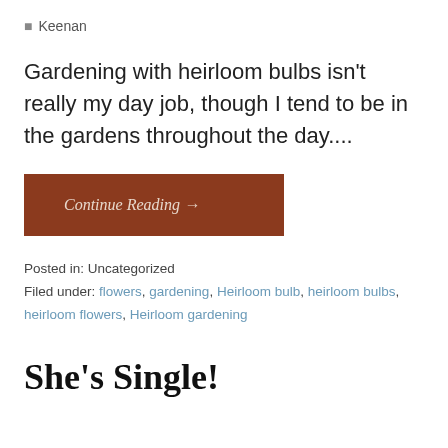Keenan
Gardening with heirloom bulbs isn't really my day job, though I tend to be in the gardens throughout the day....
Continue Reading →
Posted in: Uncategorized
Filed under: flowers, gardening, Heirloom bulb, heirloom bulbs, heirloom flowers, Heirloom gardening
She's Single!